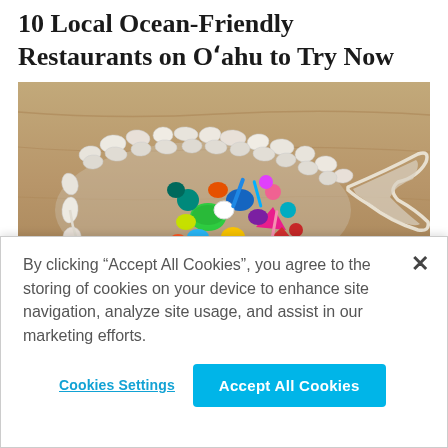10 Local Ocean-Friendly Restaurants on O‘ahu to Try Now
[Figure (photo): A whale silhouette made of white pebbles on sand, with colorful plastic debris filling its stomach area, symbolizing ocean pollution.]
By clicking “Accept All Cookies”, you agree to the storing of cookies on your device to enhance site navigation, analyze site usage, and assist in our marketing efforts.
Cookies Settings
Accept All Cookies